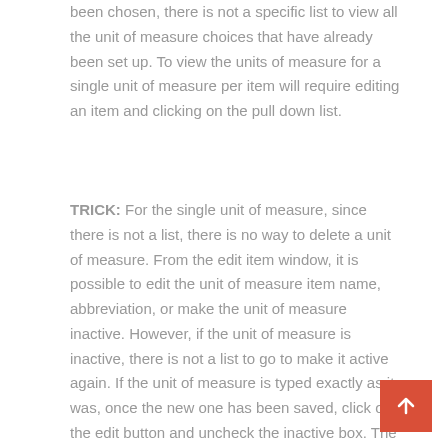been chosen, there is not a specific list to view all the unit of measure choices that have already been set up.  To view the units of measure for a single unit of measure per item will require editing an item and clicking on the pull down list.
TRICK: For the single unit of measure, since there is not a list, there is no way to delete a unit of measure.  From the edit item window, it is possible to edit the unit of measure item name, abbreviation, or make the unit of measure inactive.  However, if the unit of measure is inactive, there is not a list to go to make it active again.  If the unit of measure is typed exactly as it was, once the new one has been saved, click on the edit button and uncheck the inactive box.  The only other alternative is to go